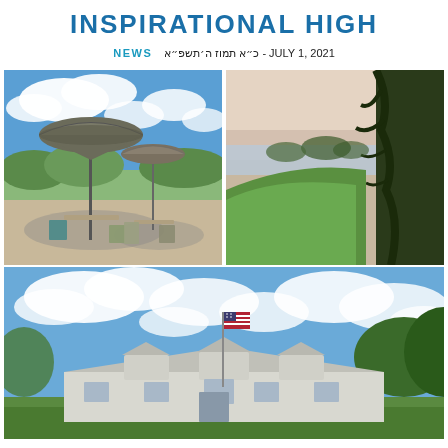INSPIRATIONAL HIGH
NEWS   כ״א תמוז ה׳תשפ״א - JULY 1, 2021
[Figure (photo): Outdoor patio area with patio umbrellas, chairs and tables under a blue sky with white clouds and green trees in the background. Three photos arranged in a collage: top-left shows patio with umbrellas, top-right shows green hillside landscape with trees and water view, bottom shows a large white building/house with an American flag and blue sky with clouds.]